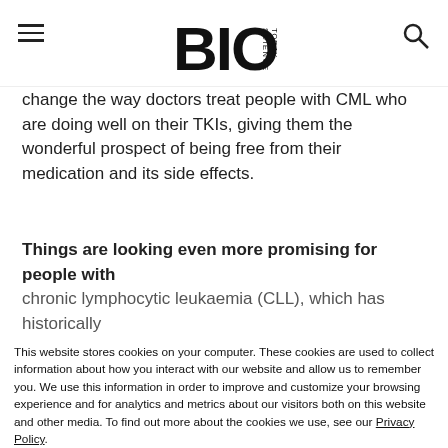BioScienceToday (logo)
change the way doctors treat people with CML who are doing well on their TKIs, giving them the wonderful prospect of being free from their medication and its side effects.
Things are looking even more promising for people with chronic lymphocytic leukaemia (CLL), which has historically
This website stores cookies on your computer. These cookies are used to collect information about how you interact with our website and allow us to remember you. We use this information in order to improve and customize your browsing experience and for analytics and metrics about our visitors both on this website and other media. To find out more about the cookies we use, see our Privacy Policy.
If you decline, your information won't be tracked when you visit this website. A single cookie will be used in your browser to remember your preference not to be tracked.